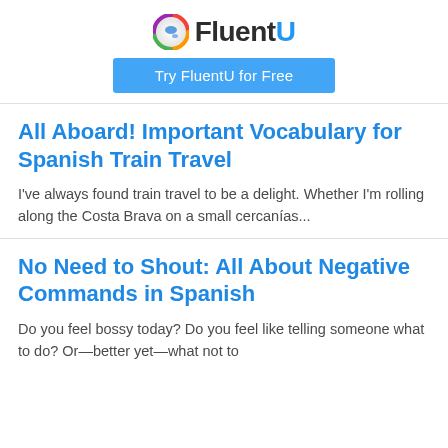[Figure (logo): FluentU logo with colorful globe icon and 'FluentU' text]
Try FluentU for Free
All Aboard! Important Vocabulary for Spanish Train Travel
I've always found train travel to be a delight. Whether I'm rolling along the Costa Brava on a small cercanías...
No Need to Shout: All About Negative Commands in Spanish
Do you feel bossy today? Do you feel like telling someone what to do? Or—better yet—what not to